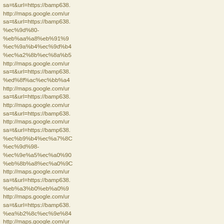sa=t&url=https://bamp638.
http://maps.google.com/ur
sa=t&url=https://bamp638.
%ec%9d%80-
%eb%aa%a8%eb%91%9
%ec%9a%b4%ec%9d%b4
%ec%a2%8b%ec%8a%b5
http://maps.google.com/ur
sa=t&url=https://bamp638.
%ed%8f%ac%ec%bb%a4
http://maps.google.com/ur
sa=t&url=https://bamp638.
http://maps.google.com/ur
sa=t&url=https://bamp638.
http://maps.google.com/ur
sa=t&url=https://bamp638.
%ec%b9%b4%ec%a7%8b
%ec%9d%98-
%ec%9e%a5%ec%a0%9
%eb%8b%a8%ec%a0%9
http://maps.google.com/ur
sa=t&url=https://bamp638.
%eb%a3%b0%eb%a0%9
http://maps.google.com/ur
sa=t&url=https://bamp638.
%ea%b2%8c%ec%9e%8
http://maps.google.com/ur